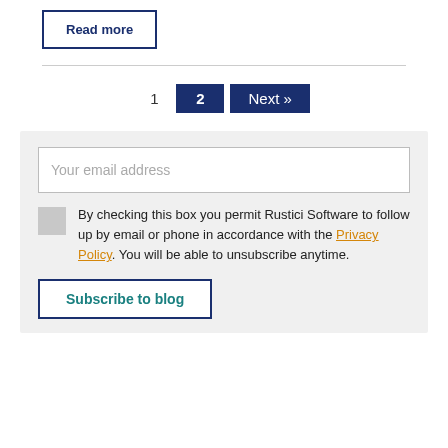Read more
1  2  Next »
Your email address
By checking this box you permit Rustici Software to follow up by email or phone in accordance with the Privacy Policy. You will be able to unsubscribe anytime.
Subscribe to blog